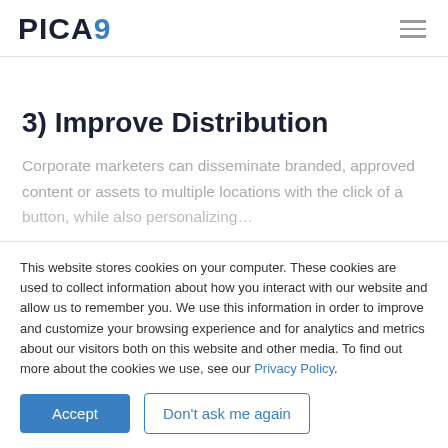PICA9
3) Improve Distribution
Corporate marketers can disseminate branded, approved content or assets to multiple locations with the click of a button, while also personalizing...
This website stores cookies on your computer. These cookies are used to collect information about how you interact with our website and allow us to remember you. We use this information in order to improve and customize your browsing experience and for analytics and metrics about our visitors both on this website and other media. To find out more about the cookies we use, see our Privacy Policy.
Accept | Don't ask me again